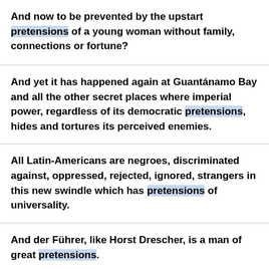And now to be prevented by the upstart pretensions of a young woman without family, connections or fortune?
And yet it has happened again at Guantánamo Bay and all the other secret places where imperial power, regardless of its democratic pretensions, hides and tortures its perceived enemies.
All Latin-Americans are negroes, discriminated against, oppressed, rejected, ignored, strangers in this new swindle which has pretensions of universality.
And der Führer, like Horst Drescher, is a man of great pretensions.
And most americans would deny all imperial pretensions. Perhaps that is why we cling so doggedly to the myth.